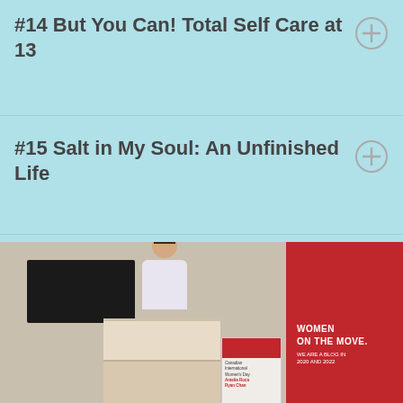#14 But You Can! Total Self Care at 13
#15 Salt in My Soul: An Unfinished Life
[Figure (photo): A woman with glasses speaking at a podium in an event space with a red 'Women on the Move' banner/panel on the right wall and a TV monitor behind her. A Canadian International Women's Day sign is visible.]
[Figure (photo): Exterior view of a brick building, partially visible at bottom of page.]